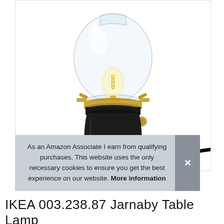[Figure (photo): IKEA Jarnaby table lamp with clear glass globe shade, Edison filament bulb, black metal base with brass/gold accent fittings and dimmer knob, black power cord visible at right]
As an Amazon Associate I earn from qualifying purchases. This website uses the only necessary cookies to ensure you get the best experience on our website. More information
IKEA 003.238.87 Jarnaby Table Lamp